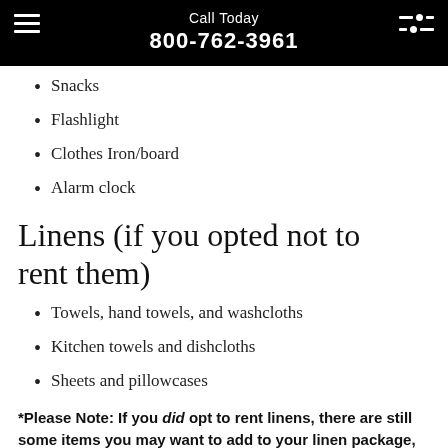Call Today 800-762-3961
Snacks
Flashlight
Clothes Iron/board
Alarm clock
Linens (if you opted not to rent them)
Towels, hand towels, and washcloths
Kitchen towels and dishcloths
Sheets and pillowcases
*Please Note: If you did opt to rent linens, there are still some items you may want to add to your linen package, or bring from home: